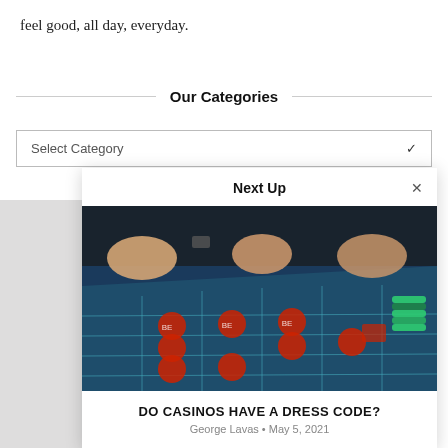feel good, all day, everyday.
Our Categories
Select Category
Next Up
[Figure (photo): Casino roulette table with people playing, chips visible, overhead view]
DO CASINOS HAVE A DRESS CODE?
George Lavas • May 5, 2021